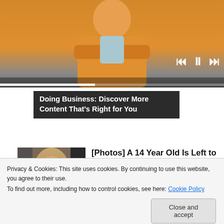[Figure (screenshot): Video player showing a person in an orange jacket with arms crossed. Media controls (skip back, pause, skip forward) visible. Progress bar at bottom.]
Doing Business: Discover More Content That's Right for You
[Figure (photo): Photo of a young teenage girl with long blonde hair looking at the camera.]
[Photos] A 14 Year Old Is Left to Babysit, 2 Hours Later Mom Gets a Text That Says "I'm...
12Up
Privacy & Cookies: This site uses cookies. By continuing to use this website, you agree to their use.
To find out more, including how to control cookies, see here: Cookie Policy
Close and accept